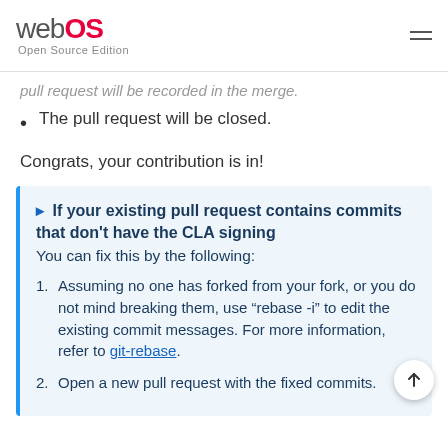webOS Open Source Edition
pull request will be recorded in the merge.
The pull request will be closed.
Congrats, your contribution is in!
If your existing pull request contains commits that don't have the CLA signing
You can fix this by the following:
1. Assuming no one has forked from your fork, or you do not mind breaking them, use “rebase -i” to edit the existing commit messages. For more information, refer to git-rebase.
2. Open a new pull request with the fixed commits.